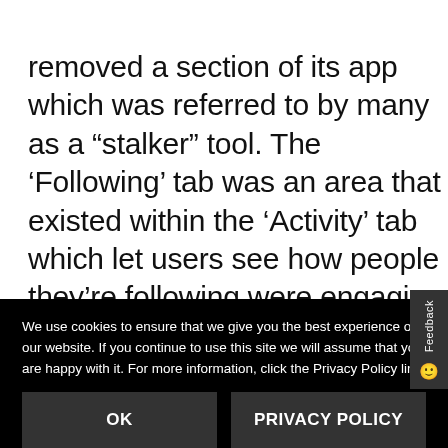removed a section of its app which was referred to by many as a “stalker” tool. The ‘Following’ tab was an area that existed within the ‘Activity’ tab which let users see how people they’re following were engaging with content on Instagram. Similar to how the ‘Activity’ tab lists the recent likes and comments on your own content, the ‘Following’ tab
We use cookies to ensure that we give you the best experience on our website. If you continue to use this site we will assume that you are happy with it. For more information, click the Privacy Policy link.
OK
PRIVACY POLICY